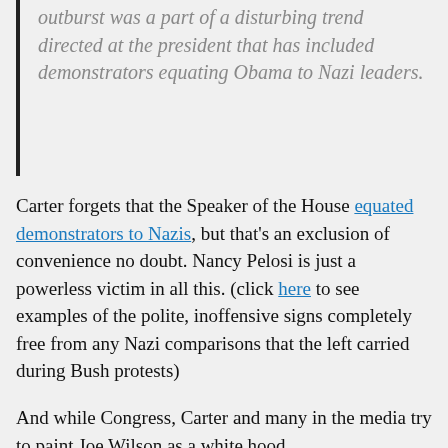outburst was a part of a disturbing trend directed at the president that has included demonstrators equating Obama to Nazi leaders.
Carter forgets that the Speaker of the House equated demonstrators to Nazis, but that's an exclusion of convenience no doubt. Nancy Pelosi is just a powerless victim in all this. (click here to see examples of the polite, inoffensive signs completely free from any Nazi comparisons that the left carried during Bush protests)
And while Congress, Carter and many in the media try to paint Joe Wilson as a white hood